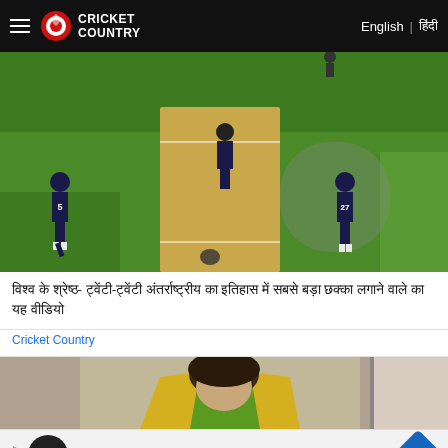Cricket Country | English | हिंदी
[Figure (photo): Cricket match aerial view showing players on a cricket pitch with green outfield. Two fielders wearing dark jerseys numbered 5 and 27, and a batsman in dark kit visible on the pitch.]
विश्व के श्रेष्ठ- ट्वेंटी-ट्वेंटी अंतर्राष्ट्रीय का इतिहास में सबसे बड़ा छक्का लगाने वाले का यह वीडियो
Cricket Country
[Figure (photo): Partial view of a person wearing a yellow/green sports jersey, appearing to be looking down, in an indoor setting.]
In-store shopping